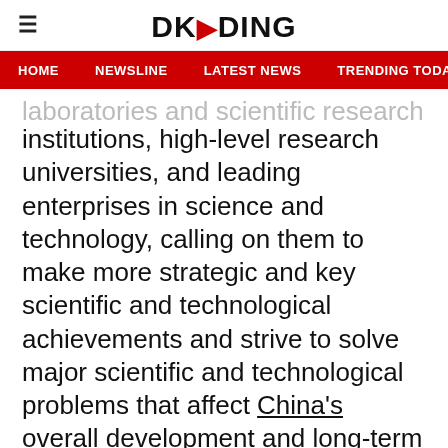DKODING
HOME  NEWSLINE  LATEST NEWS  TRENDING TODAY  ENT
laboratories and scientific research institutions, high-level research universities, and leading enterprises in science and technology, calling on them to make more strategic and key scientific and technological achievements and strive to solve major scientific and technological problems that affect China's overall development and long-term interests.
Important are efforts in cultivating top-notch scientific and technological personnel with global influence, steadily supporting a number of innovation teams, and training more high-quality technical and skilled